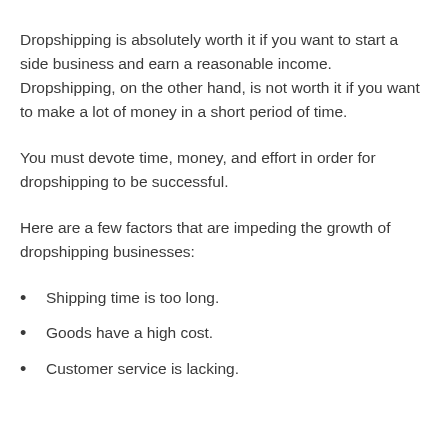Dropshipping is absolutely worth it if you want to start a side business and earn a reasonable income. Dropshipping, on the other hand, is not worth it if you want to make a lot of money in a short period of time.
You must devote time, money, and effort in order for dropshipping to be successful.
Here are a few factors that are impeding the growth of dropshipping businesses:
Shipping time is too long.
Goods have a high cost.
Customer service is lacking.